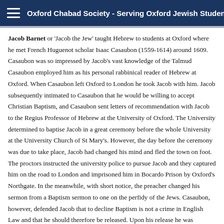Oxford Chabad Society - Serving Oxford Jewish Students
Jacob Barnet or 'Jacob the Jew' taught Hebrew to students at Oxford where he met French Huguenot scholar Isaac Casaubon (1559-1614) around 1609. Casaubon was so impressed by Jacob's vast knowledge of the Talmud Casaubon employed him as his personal rabbinical reader of Hebrew at Oxford. When Casaubon left Oxford to London he took Jacob with him. Jacob subsequently intimated to Casaubon that he would be willing to accept Christian Baptism, and Casaubon sent letters of recommendation with Jacob to the Regius Professor of Hebrew at the University of Oxford. The University determined to baptise Jacob in a great ceremony before the whole University at the University Church of St Mary's. However, the day before the ceremony was due to take place, Jacob had changed his mind and fled the town on foot. The proctors instructed the university police to pursue Jacob and they captured him on the road to London and imprisoned him in Bocardo Prison by Oxford's Northgate. In the meanwhile, with short notice, the preacher changed his sermon from a Baptism sermon to one on the perfidy of the Jews. Casaubon, however, defended Jacob that to decline Baptism is not a crime in English Law and that he should therefore be released. Upon his release he was banished from the university (Biography of Jacob Casaubon Chapter VIII, by Walter Farquhar Hook).